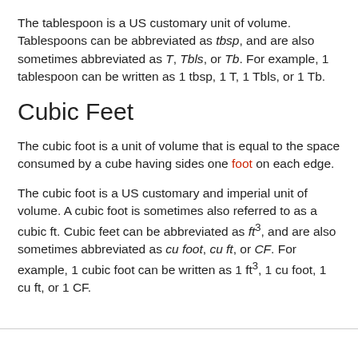The tablespoon is a US customary unit of volume. Tablespoons can be abbreviated as tbsp, and are also sometimes abbreviated as T, Tbls, or Tb. For example, 1 tablespoon can be written as 1 tbsp, 1 T, 1 Tbls, or 1 Tb.
Cubic Feet
The cubic foot is a unit of volume that is equal to the space consumed by a cube having sides one foot on each edge.
The cubic foot is a US customary and imperial unit of volume. A cubic foot is sometimes also referred to as a cubic ft. Cubic feet can be abbreviated as ft³, and are also sometimes abbreviated as cu foot, cu ft, or CF. For example, 1 cubic foot can be written as 1 ft³, 1 cu foot, 1 cu ft, or 1 CF.